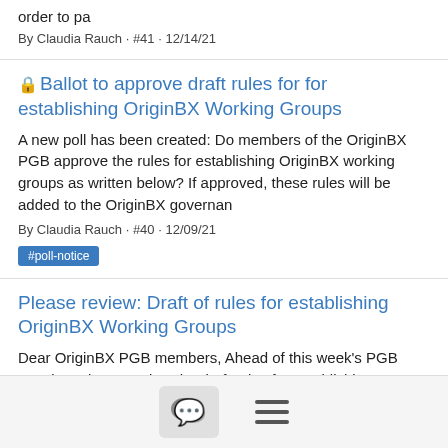order to pa
By Claudia Rauch · #41 · 12/14/21
🔒 Ballot to approve draft rules for for establishing OriginBX Working Groups
A new poll has been created: Do members of the OriginBX PGB approve the rules for establishing OriginBX working groups as written below? If approved, these rules will be added to the OriginBX governan
By Claudia Rauch · #40 · 12/09/21
#poll-notice
Please review: Draft of rules for establishing OriginBX Working Groups
Dear OriginBX PGB members, Ahead of this week's PGB meeting, please review the draft rules for establishing OriginBX working groups. Here's the link to the Google Doc: https://docs.google.com/document
By Claudia Rauch · #38 · 12/06/21